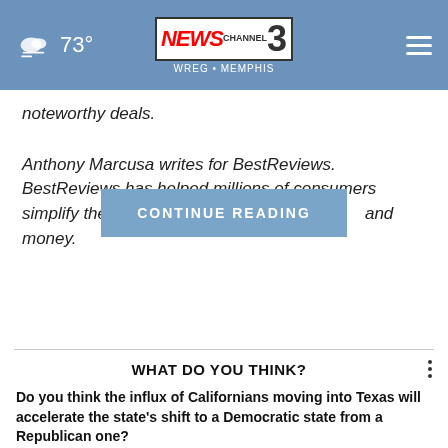NEWS CHANNEL 3 WREG MEMPHIS | 73°
noteworthy deals.
Anthony Marcusa writes for BestReviews. BestReviews has helped millions of consumers simplify their purchasing decisions and money.
WHAT DO YOU THINK?
Do you think the influx of Californians moving into Texas will accelerate the state's shift to a Democratic state from a Republican one?
Yes, I think so
Maybe, I'm not sure